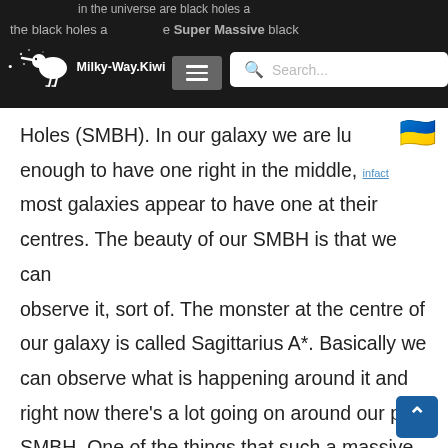in the universe are black holes a... the black holes are Super Massive black — Milky-Way.Kiwi [navigation header with search bar]
Holes (SMBH). In our galaxy we are lucky enough to have one right in the middle, infact most galaxies appear to have one at their centres. The beauty of our SMBH is that we can observe it, sort of. The monster at the centre of our galaxy is called Sagittarius A*. Basically we can observe what is happening around it and right now there's a lot going on around our pet SMBH. One of the things that such a massive and wild object can allow scientists to do is test